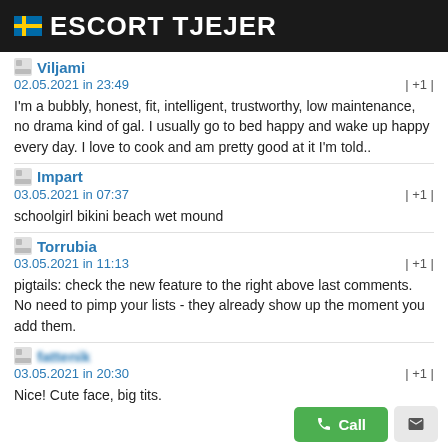🇸🇪 ESCORT TJEJER
Viljami
02.05.2021 in 23:49 | +1 |
I'm a bubbly, honest, fit, intelligent, trustworthy, low maintenance, no drama kind of gal. I usually go to bed happy and wake up happy every day. I love to cook and am pretty good at it I'm told..
Impart
03.05.2021 in 07:37 | +1 |
schoolgirl bikini beach wet mound
Torrubia
03.05.2021 in 11:13 | +1 |
pigtails: check the new feature to the right above last comments. No need to pimp your lists - they already show up the moment you add them.
[blurred name]
03.05.2021 in 20:30 | +1 |
Nice! Cute face, big tits.